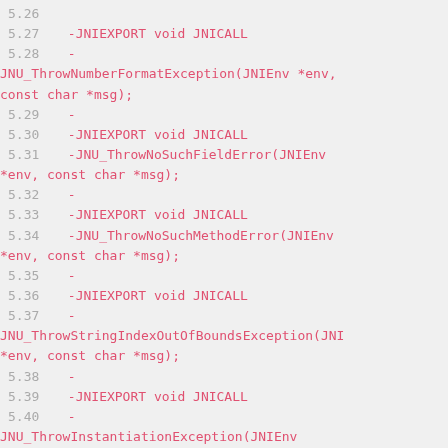Code diff showing JNI utility function declarations (lines 5.26-5.43), including JNU_ThrowNumberFormatException, JNU_ThrowNoSuchFieldError, JNU_ThrowNoSuchMethodError, JNU_ThrowStringIndexOutOfBoundsException, JNU_ThrowInstantiationException, and a comment about throwing an exception by name using the string returned by getLastErrorString for the detail string.